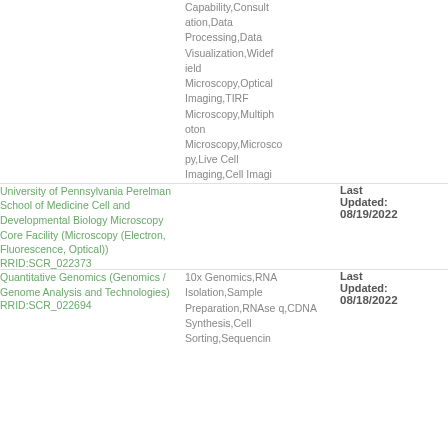| Resource Name / RRID | Keywords | Last Updated |
| --- | --- | --- |
|  | Capability,Consultation,Data Processing,Data Visualization,Widefield Microscopy,Optical Imaging,TIRF Microscopy,Multiphoton Microscopy,Microscopy,Live Cell Imaging,Cell Imagi |  |
| University of Pennsylvania Perelman School of Medicine Cell and Developmental Biology Microscopy Core Facility (Microscopy (Electron, Fluorescence, Optical)) RRID:SCR_022373 |  | Last Updated: 08/19/2022 |
| Quantitative Genomics (Genomics / Genome Analysis and Technologies) RRID:SCR_022694 | 10x Genomics,RNA Isolation,Sample Preparation,RNAseq,CDNA Synthesis,Cell Sorting,Sequencin | Last Updated: 08/18/2022 |